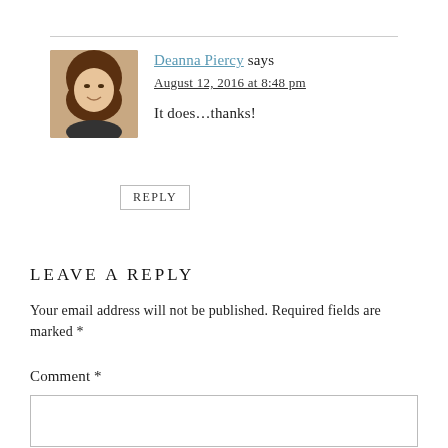[Figure (photo): Avatar photo of Deanna Piercy, a woman with brown hair smiling]
Deanna Piercy says
August 12, 2016 at 8:48 pm
It does…thanks!
REPLY
LEAVE A REPLY
Your email address will not be published. Required fields are marked *
Comment *